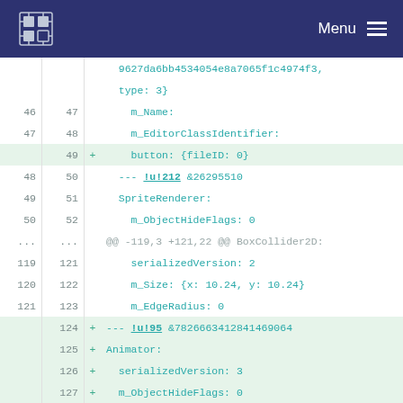Menu
[Figure (screenshot): Code diff view showing YAML/Unity scene file changes. Lines 46-130 shown with old/new line numbers, added lines highlighted in green. Contains SpriteRenderer, BoxCollider2D, and Animator component data.]